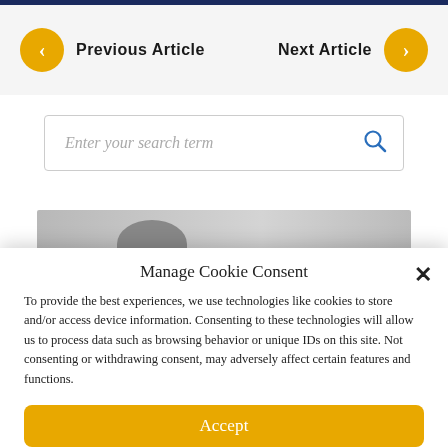Previous Article    Next Article
Enter your search term
[Figure (photo): Partial image strip showing grayscale background with a silhouette or partial figure of a person]
Manage Cookie Consent
To provide the best experiences, we use technologies like cookies to store and/or access device information. Consenting to these technologies will allow us to process data such as browsing behavior or unique IDs on this site. Not consenting or withdrawing consent, may adversely affect certain features and functions.
Accept
Cookie Policy